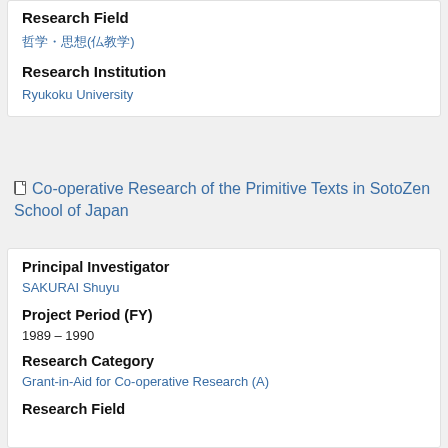Research Field
哲学・思想(仏教学)
Research Institution
Ryukoku University
Co-operative Research of the Primitive Texts in SotoZen School of Japan
Principal Investigator
SAKURAI Shuyu
Project Period (FY)
1989 – 1990
Research Category
Grant-in-Aid for Co-operative Research (A)
Research Field